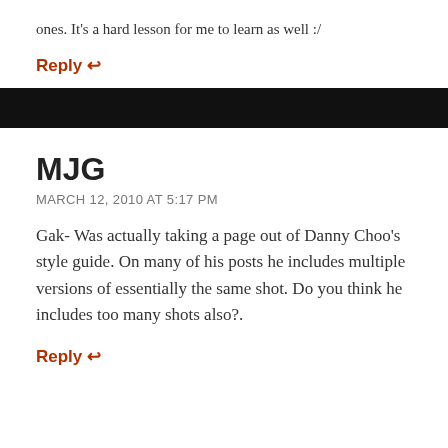ones. It's a hard lesson for me to learn as well :/
Reply ↩
MJG
MARCH 12, 2010 AT 5:17 PM
Gak- Was actually taking a page out of Danny Choo's style guide. On many of his posts he includes multiple versions of essentially the same shot. Do you think he includes too many shots also?.
Reply ↩